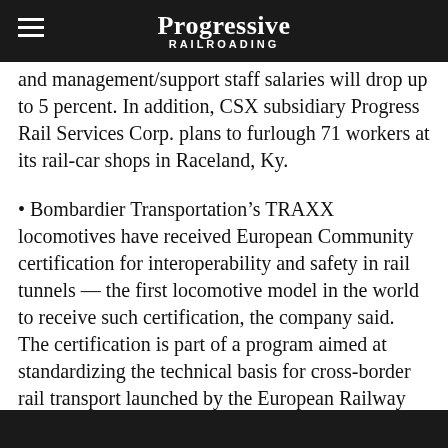Progressive Railroading
and management/support staff salaries will drop up to 5 percent. In addition, CSX subsidiary Progress Rail Services Corp. plans to furlough 71 workers at its rail-car shops in Raceland, Ky.
• Bombardier Transportation's TRAXX locomotives have received European Community certification for interoperability and safety in rail tunnels — the first locomotive model in the world to receive such certification, the company said. The certification is part of a program aimed at standardizing the technical basis for cross-border rail transport launched by the European Railway Agency. Now, the TRAXX platform conforms to technical specifications for rail vehicles for cross-border transport. To meet the interoperability standard, Bombardier will use special flame-proof materials to provide fire protection in